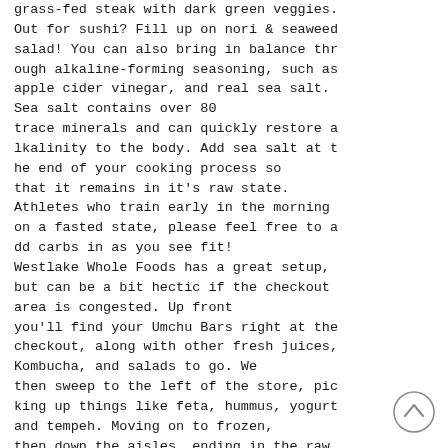grass-fed steak with dark green veggies. Out for sushi? Fill up on nori & seaweed salad! You can also bring in balance through alkaline-forming seasoning, such as apple cider vinegar, and real sea salt. Sea salt contains over 80 trace minerals and can quickly restore alkalinity to the body. Add sea salt at the end of your cooking process so that it remains in it's raw state. Athletes who train early in the morning on a fasted state, please feel free to add carbs in as you see fit! Westlake Whole Foods has a great setup, but can be a bit hectic if the checkout area is congested. Up front you'll find your Umchu Bars right at the checkout, along with other fresh juices, Kombucha, and salads to go. We then sweep to the left of the store, picking up things like feta, hummus, yogurt and tempeh. Moving on to frozen, then down the aisles, ending in the raw food section, bulk and produce. **Remember that for your snack options.